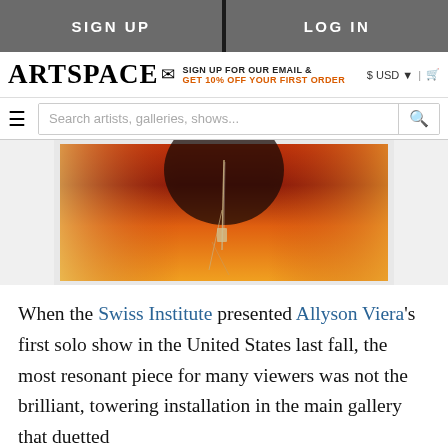SIGN UP | LOG IN
ARTSPACE — SIGN UP FOR OUR EMAIL & GET 10% OFF YOUR FIRST ORDER — $ USD | cart
Search artists, galleries, shows...
[Figure (photo): Artwork photo showing an orange and red gradient background with a thin metallic or glass object (possibly a syringe or pin) suspended or dripping in the center]
When the Swiss Institute presented Allyson Viera's first solo show in the United States last fall, the most resonant piece for many viewers was not the brilliant, towering installation in the main gallery that duetted